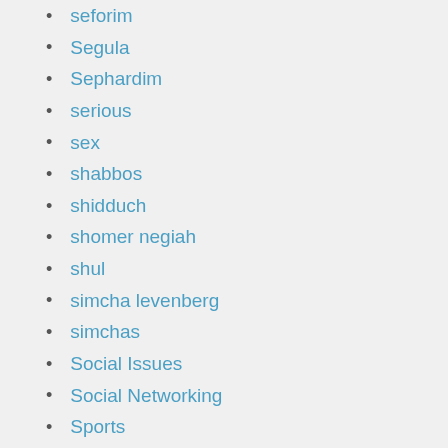seforim
Segula
Sephardim
serious
sex
shabbos
shidduch
shomer negiah
shul
simcha levenberg
simchas
Social Issues
Social Networking
Sports
stand up
Stand Up Shows
stereotypes
sukkos
Summer Camp